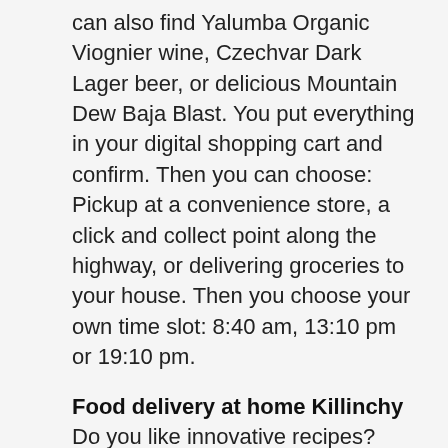can also find Yalumba Organic Viognier wine, Czechvar Dark Lager beer, or delicious Mountain Dew Baja Blast. You put everything in your digital shopping cart and confirm. Then you can choose: Pickup at a convenience store, a click and collect point along the highway, or delivering groceries to your house. Then you choose your own time slot: 8:40 am, 13:10 pm or 19:10 pm.
Food delivery at home Killinchy
Do you like innovative recipes? Want to try delicious meals such as Most Amazing Challah and / or Lamb Medallions With Green Beans Provencale? Maybe it's something for you: the ready